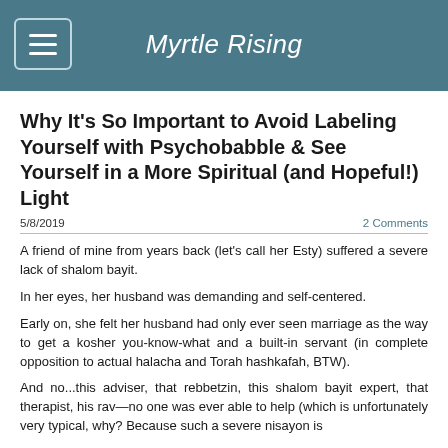Myrtle Rising
Why It's So Important to Avoid Labeling Yourself with Psychobabble & See Yourself in a More Spiritual (and Hopeful!) Light
5/8/2019
2 Comments
A friend of mine from years back (let's call her Esty) suffered a severe lack of shalom bayit.
In her eyes, her husband was demanding and self-centered.
Early on, she felt her husband had only ever seen marriage as the way to get a kosher you-know-what and a built-in servant (in complete opposition to actual halacha and Torah hashkafah, BTW).
And no...this adviser, that rebbetzin, this shalom bayit expert, that therapist, his rav—no one was ever able to help (which is unfortunately very typical, why? Because such a severe nisayon is